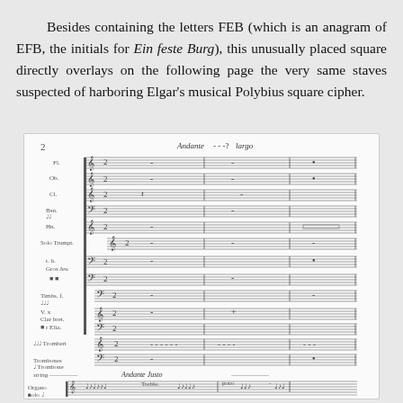Besides containing the letters FEB (which is an anagram of EFB, the initials for Ein feste Burg), this unusually placed square directly overlays on the following page the very same staves suspected of harboring Elgar's musical Polybius square cipher.
[Figure (illustration): A handwritten orchestral musical score page labeled '2' at top left, with 'Andante' tempo marking and 'largo' indication. Multiple staves with instrument labels on the left including various orchestral parts. The score shows multiple systems of staves with notes, clefs, and bar lines in manuscript notation.]